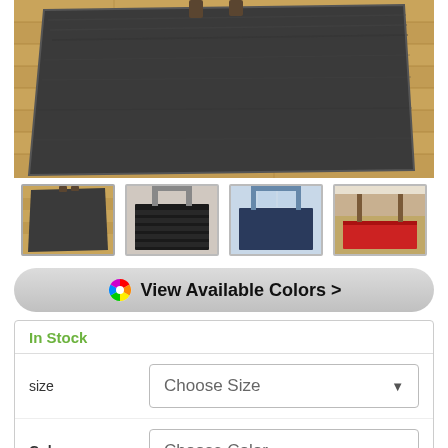[Figure (photo): Large dark charcoal/black floor mat on a wooden floor, viewed from above at an angle, with chair legs visible at the top]
[Figure (photo): Thumbnail 1: dark floor mat on wooden floor with legs visible]
[Figure (photo): Thumbnail 2: black ribbed floor mat on floor near door]
[Figure (photo): Thumbnail 3: dark blue floor mat on floor near glass door]
[Figure (photo): Thumbnail 4: red floor mat on wooden floor near door]
View Available Colors >
In Stock
size
Choose Size
Color
Choose Color